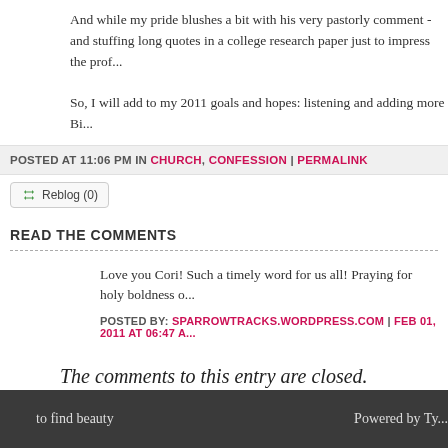And while my pride blushes a bit with his very pastorly comment - and stuffing long quotes in a college research paper just to impress the prof...
So, I will add to my 2011 goals and hopes: listening and adding more Bi...
POSTED AT 11:06 PM IN CHURCH, CONFESSION | PERMALINK
Reblog (0)
READ THE COMMENTS
Love you Cori! Such a timely word for us all! Praying for holy boldness o...
POSTED BY: SPARROWTRACKS.WORDPRESS.COM | FEB 01, 2011 AT 06:47 A...
The comments to this entry are closed.
to find beauty                                    Powered by Ty...